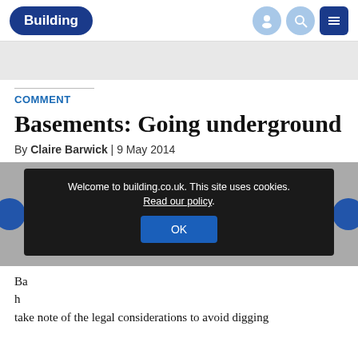[Figure (logo): Building magazine logo — white text 'Building' on dark blue oval background]
[Figure (screenshot): Cookie consent overlay on building.co.uk. Dark banner: 'Welcome to building.co.uk. This site uses cookies. Read our policy.' with OK button]
COMMENT
Basements: Going underground
By Claire Barwick | 9 May 2014
take note of the legal considerations to avoid digging